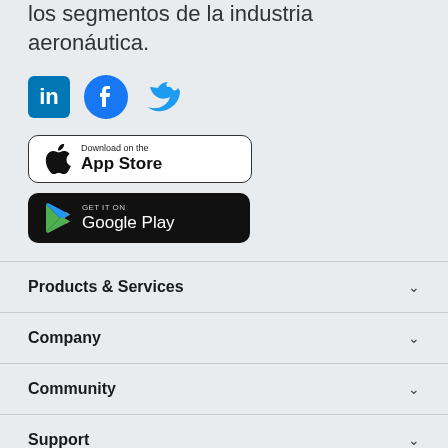los segmentos de la industria aeronáutica.
[Figure (logo): Social media icons: LinkedIn, Facebook, Twitter]
[Figure (logo): Download on the App Store button]
[Figure (logo): Get it on Google Play button]
Products & Services
Company
Community
Support